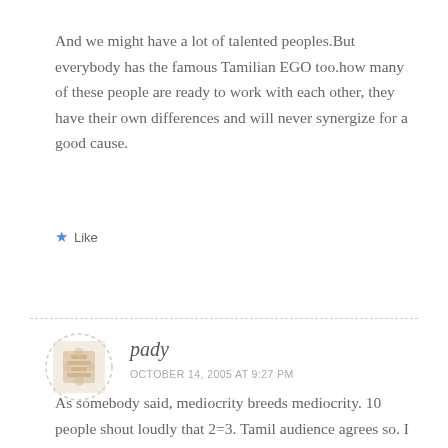And we might have a lot of talented peoples.But everybody has the famous Tamilian EGO too.how many of these people are ready to work with each other, they have their own differences and will never synergize for a good cause.
★ Like
pady
OCTOBER 14, 2005 AT 9:27 PM
As somebody said, mediocrity breeds mediocrity. 10 people shout loudly that 2=3. Tamil audience agrees so. I have been shouting for years how bad Rajnikanth's movies are ( and same for Kamal or Mani). My friends